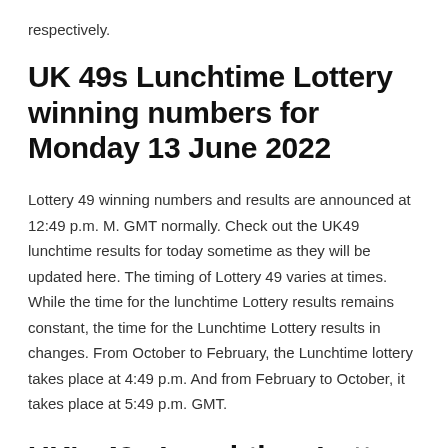respectively.
UK 49s Lunchtime Lottery winning numbers for Monday 13 June 2022
Lottery 49 winning numbers and results are announced at 12:49 p.m. M. GMT normally. Check out the UK49 lunchtime results for today sometime as they will be updated here. The timing of Lottery 49 varies at times. While the time for the lunchtime Lottery results remains constant, the time for the Lunchtime Lottery results in changes. From October to February, the Lunchtime lottery takes place at 4:49 p.m. And from February to October, it takes place at 5:49 p.m. GMT.
UK's 49s Lunchtime Lottery